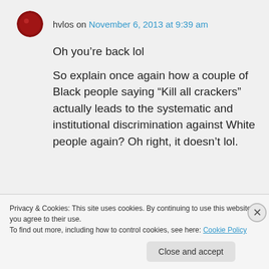hvlos on November 6, 2013 at 9:39 am
Oh you're back lol
So explain once again how a couple of Black people saying “Kill all crackers” actually leads to the systematic and institutional discrimination against White people again? Oh right, it doesn’t lol.
Privacy & Cookies: This site uses cookies. By continuing to use this website, you agree to their use.
To find out more, including how to control cookies, see here: Cookie Policy